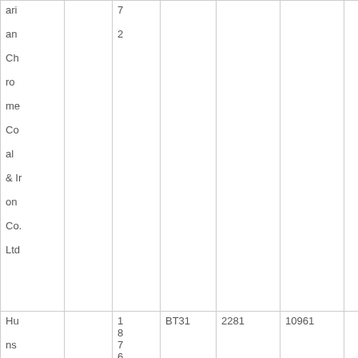| ari
an
Ch
ro
me
Co
al
& Ir
on
Co.
Ltd |  | 7
2 |  |  |  |  |
| Hu
ns
bu
ry
Hill |  | 1
8
7
6 | BT31 | 2281 | 10961 |  |